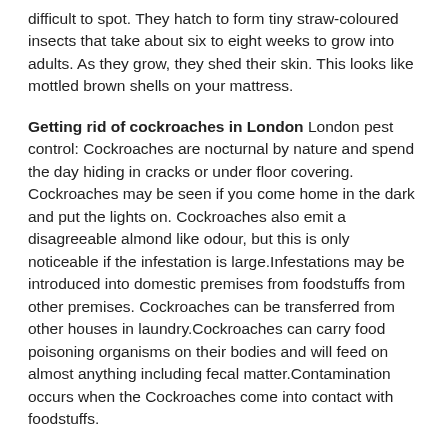difficult to spot. They hatch to form tiny straw-coloured insects that take about six to eight weeks to grow into adults. As they grow, they shed their skin. This looks like mottled brown shells on your mattress.
Getting rid of cockroaches in London London pest control: Cockroaches are nocturnal by nature and spend the day hiding in cracks or under floor covering. Cockroaches may be seen if you come home in the dark and put the lights on. Cockroaches also emit a disagreeable almond like odour, but this is only noticeable if the infestation is large.Infestations may be introduced into domestic premises from foodstuffs from other premises. Cockroaches can be transferred from other houses in laundry.Cockroaches can carry food poisoning organisms on their bodies and will feed on almost anything including fecal matter.Contamination occurs when the Cockroaches come into contact with foodstuffs.
Getting rid of fleas in London London pest control: Fleas are a persistent threat to the home. Fleas will...